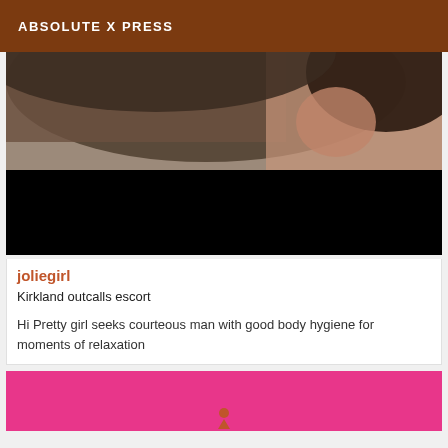ABSOLUTE X PRESS
[Figure (photo): Partially visible close-up photo of a person with dark hair, top portion visible. Lower portion black (obscured/redacted).]
joliegirl
Kirkland outcalls escort
Hi Pretty girl seeks courteous man with good body hygiene for moments of relaxation
[Figure (photo): Pink/magenta background card with a small orange icon at the bottom center, partially visible at bottom of page.]